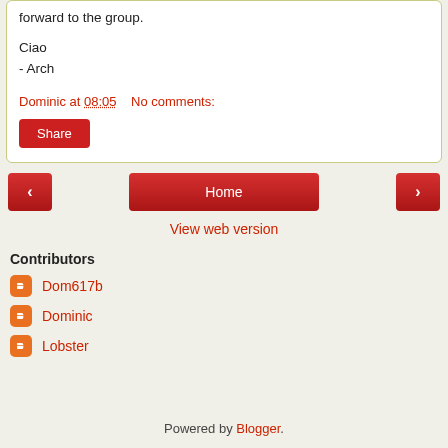forward to the group.
Ciao
- Arch
Dominic at 08:05    No comments:
Share
< Home >
View web version
Contributors
Dom617b
Dominic
Lobster
Powered by Blogger.